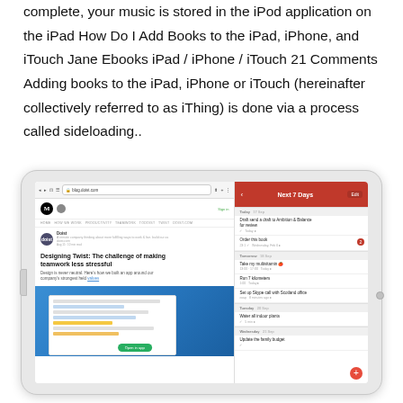complete, your music is stored in the iPod application on the iPad How Do I Add Books to the iPad, iPhone, and iTouch Jane Ebooks iPad / iPhone / iTouch 21 Comments Adding books to the iPad, iPhone or iTouch (hereinafter collectively referred to as iThing) is done via a process called sideloading..
[Figure (screenshot): Screenshot of an iPad in landscape mode showing a split-screen view: left side shows a Medium blog article titled 'Designing Twist: The challenge of making teamwork less stressful', right side shows a to-do app with tasks listed under Today, Tomorrow, Tuesday, and Wednesday sections.]